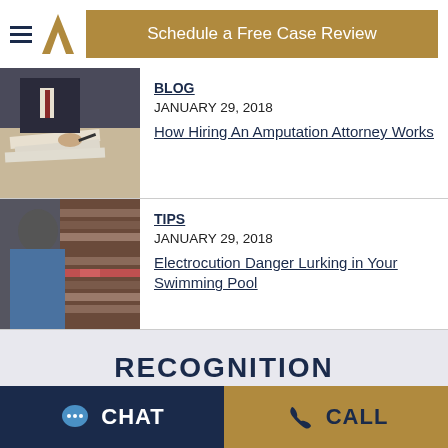Schedule a Free Case Review
[Figure (photo): Person in suit signing documents at a desk]
BLOG
JANUARY 29, 2018
How Hiring An Amputation Attorney Works
[Figure (photo): Person in blue shirt standing in front of law library bookshelves]
TIPS
JANUARY 29, 2018
Electrocution Danger Lurking in Your Swimming Pool
RECOGNITION
CHAT   CALL